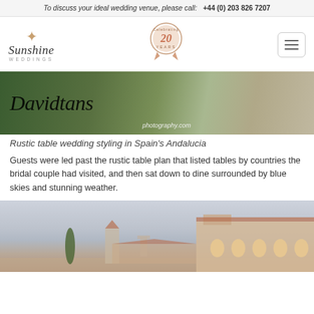To discuss your ideal wedding venue, please call:  +44 (0) 203 826 7207
[Figure (logo): Sunshine Weddings logo with star icon and script text]
[Figure (other): 20 years celebrating badge/ribbon in rose gold]
[Figure (other): Hamburger menu button]
[Figure (photo): Rustic table wedding styling with Davidtans photography watermark and daviddans photography.com credit]
Rustic table wedding styling in Spain's Andalucia
Guests were led past the rustic table plan that listed tables by countries the bridal couple had visited, and then sat down to dine surrounded by blue skies and stunning weather.
[Figure (photo): Exterior view of a Spanish-style building with terracotta roof tiles, a church tower, arched windows, and cypress trees under a pale sky]